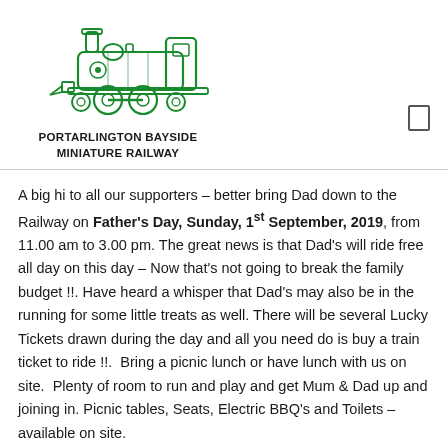[Figure (logo): Green illustration of a steam locomotive facing right, outlined style, used as the logo for Portarlington Bayside Miniature Railway]
PORTARLINGTON BAYSIDE MINIATURE RAILWAY
A big hi to all our supporters – better bring Dad down to the Railway on Father's Day, Sunday, 1st September, 2019, from 11.00 am to 3.00 pm. The great news is that Dad's will ride free all day on this day – Now that's not going to break the family budget !!. Have heard a whisper that Dad's may also be in the running for some little treats as well. There will be several Lucky Tickets drawn during the day and all you need do is buy a train ticket to ride !!. Bring a picnic lunch or have lunch with us on site. Plenty of room to run and play and get Mum & Dad up and joining in. Picnic tables, Seats, Electric BBQ's and Toilets – available on site.